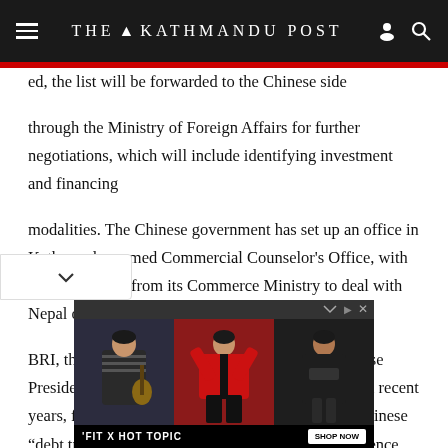THE KATHMANDU POST
ed, the list will be forwarded to the Chinese side through the Ministry of Foreign Affairs for further negotiations, which will include identifying investment and financing
modalities. The Chinese government has set up an office in Kathmandu, named Commercial Counselor's Office, with representatives from its Commerce Ministry to deal with Nepal on Beijing-funded projects.
BRI, the signature foreign policy initiative of Chinese President Xi Jinping, has grabbed global attention in recent years, for several reports of countries falling into Chinese “debt trap”, as Beijing expanding its sphere of influence across Asia, Europe and Africa.
[Figure (photo): Advertisement banner: 'FIT X HOT TOPIC SHOP NOW' with three people in stylized fashion poses on dark background]